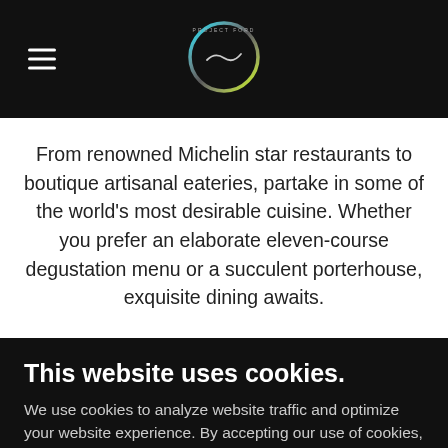[Figure (logo): Project Ford circular logo with neon green and blue gradient ring on dark background, with a cursive signature in the center]
From renowned Michelin star restaurants to boutique artisanal eateries, partake in some of the world's most desirable cuisine. Whether you prefer an elaborate eleven-course degustation menu or a succulent porterhouse, exquisite dining awaits.
This website uses cookies.
We use cookies to analyze website traffic and optimize your website experience. By accepting our use of cookies, your data will be aggregated with all other user data.
ACCEPT